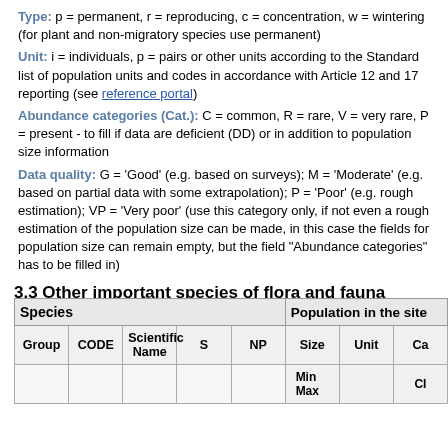Type: p = permanent, r = reproducing, c = concentration, w = wintering (for plant and non-migratory species use permanent)
Unit: i = individuals, p = pairs or other units according to the Standard list of population units and codes in accordance with Article 12 and 17 reporting (see reference portal)
Abundance categories (Cat.): C = common, R = rare, V = very rare, P = present - to fill if data are deficient (DD) or in addition to population size information
Data quality: G = 'Good' (e.g. based on surveys); M = 'Moderate' (e.g. based on partial data with some extrapolation); P = 'Poor' (e.g. rough estimation); VP = 'Very poor' (use this category only, if not even a rough estimation of the population size can be made, in this case the fields for population size can remain empty, but the field "Abundance categories" has to be filled in)
3.3 Other important species of flora and fauna (optional)
| Species | Population in the site | Group | CODE | Scientific Name | S | NP | Size | Unit | Ca | Min | Max | CI |
| --- | --- | --- | --- | --- | --- | --- | --- | --- | --- | --- | --- | --- |
|  |